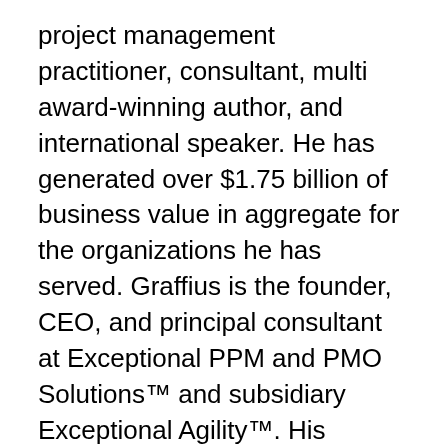project management practitioner, consultant, multi award-winning author, and international speaker. He has generated over $1.75 billion of business value in aggregate for the organizations he has served. Graffius is the founder, CEO, and principal consultant at Exceptional PPM and PMO Solutions™ and subsidiary Exceptional Agility™. His expertise spans project, program, portfolio, and PMO leadership inclusive of agile, traditional, and hybrid approaches. Content from his books (Agile Scrum and Agile Transformation), workshops, speaking engagements, and more have been featured and used by businesses, professional associations, governments, and universities including Microsoft, Oracle, Cisco, Gartner, Deloitte, Project